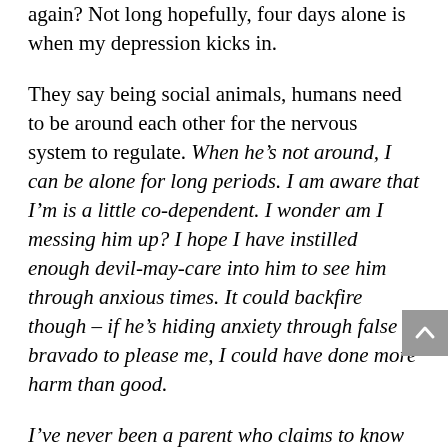again? Not long hopefully, four days alone is when my depression kicks in.
They say being social animals, humans need to be around each other for the nervous system to regulate. When he’s not around, I can be alone for long periods. I am aware that I’m is a little co-dependent. I wonder am I messing him up? I hope I have instilled enough devil-may-care into him to see him through anxious times. It could backfire though – if he’s hiding anxiety through false bravado to please me, I could have done more harm than good.
I’ve never been a parent who claims to know what he’s doing. I’m wrong about a lot, remember? If I had my time again knowing now who I am, I would